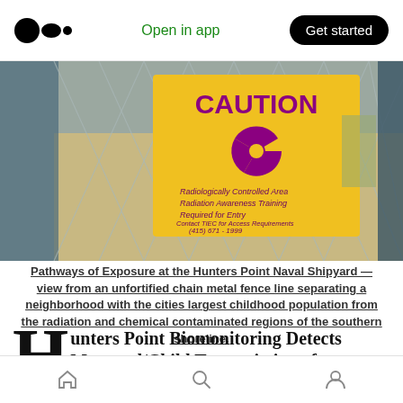Open in app | Get started
[Figure (photo): A yellow caution sign with a radiation symbol on a chain-link fence. The sign reads: CAUTION, Radiologically Controlled Area, Radiation Awareness Training Required for Entry, Contact TIEC for Access Requirements (415) 671-1999. Behind the fence is a sandy desert/beach area.]
Pathways of Exposure at the Hunters Point Naval Shipyard — view from an unfortified chain metal fence line separating a neighborhood with the cities largest childhood population from the radiation and chemical contaminated regions of the southern shoreline.
Hunters Point Biomonitoring Detects Maternal/Child Transmission of
Home | Search | Profile